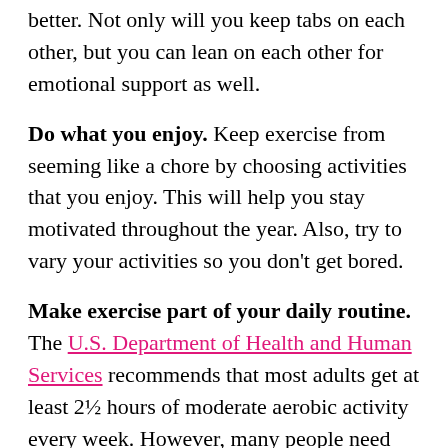better. Not only will you keep tabs on each other, but you can lean on each other for emotional support as well.
Do what you enjoy. Keep exercise from seeming like a chore by choosing activities that you enjoy. This will help you stay motivated throughout the year. Also, try to vary your activities so you don't get bored.
Make exercise part of your daily routine. The U.S. Department of Health and Human Services recommends that most adults get at least 2½ hours of moderate aerobic activity every week. However, many people need more than 150 minutes of aerobic exercise a week to prevent weight gain. And some will need to do more than 300 minutes (five hours) a week to lose weight or maintain weight loss.
If you find it difficult to make time for exercise, look